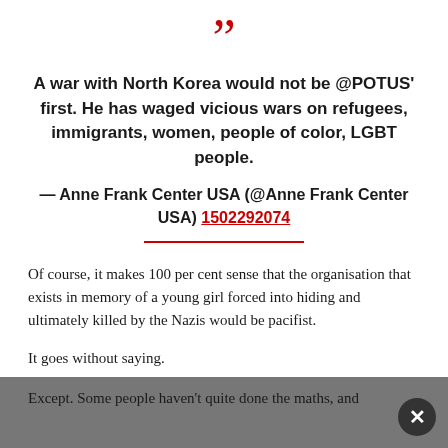A war with North Korea would not be @POTUS' first. He has waged vicious wars on refugees, immigrants, women, people of color, LGBT people. — Anne Frank Center USA (@Anne Frank Center USA) 1502292074
Of course, it makes 100 per cent sense that the organisation that exists in memory of a young girl forced into hiding and ultimately killed by the Nazis would be pacifist.
It goes without saying.
Except. Some people haven't quite done the maths, and